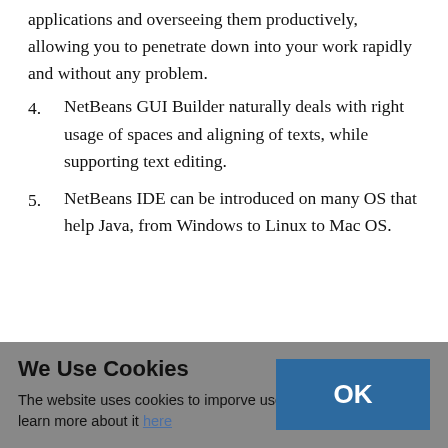applications and overseeing them productively, allowing you to penetrate down into your work rapidly and without any problem.
4. NetBeans GUI Builder naturally deals with right usage of spaces and aligning of texts, while supporting text editing.
5. NetBeans IDE can be introduced on many OS that help Java, from Windows to Linux to Mac OS.
We Use Cookies
The website uses cookies to imporve users experience. You can learn more about it here